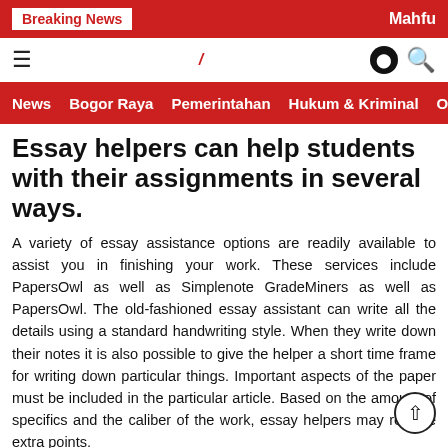Breaking News | Mahfu
≡ (logo) ● 🔍
News  Bogor Raya  Pemerintahan  Hukum & Kriminal  Ol…
Essay helpers can help students with their assignments in several ways.
A variety of essay assistance options are readily available to assist you in finishing your work. These services include PapersOwl as well as Simplenote GradeMiners as well as PapersOwl. The old-fashioned essay assistant can write all the details using a standard handwriting style. When they write down their notes it is also possible to give the helper a short time frame for writing down particular things. Important aspects of the paper must be included in the particular article. Based on the amount of specifics and the caliber of the work, essay helpers may receive extra points.